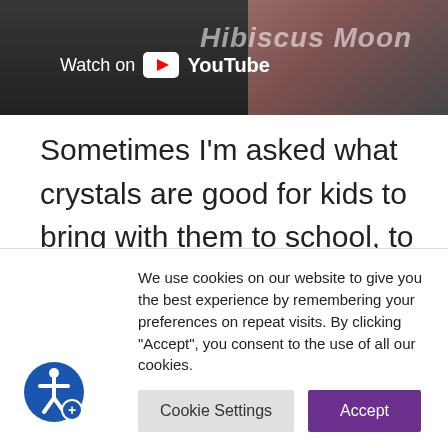[Figure (screenshot): YouTube video thumbnail with 'Watch on YouTube' overlay and italic text 'Hibiscus Moon' partially visible]
Sometimes I'm asked what crystals are good for kids to bring with them to school, to calm down their energy because sometimes, some children have a lot more energy than others
We use cookies on our website to give you the best experience by remembering your preferences on repeat visits. By clicking "Accept", you consent to the use of all our cookies.
Cookie Settings  Accept